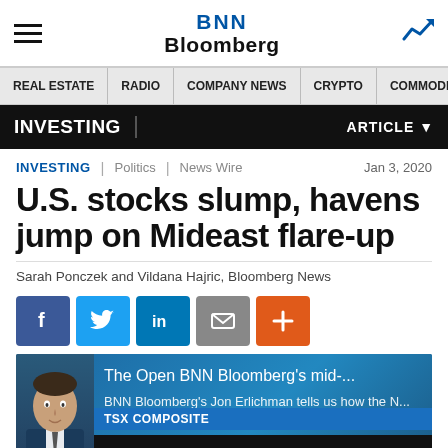BNN Bloomberg
REAL ESTATE | RADIO | COMPANY NEWS | CRYPTO | COMMODITIES | CANN
INVESTING | ARTICLE
INVESTING  |  Politics  |  News Wire  — Jan 3, 2020
U.S. stocks slump, havens jump on Mideast flare-up
Sarah Ponczek and Vildana Hajric, Bloomberg News
[Figure (screenshot): BNN Bloomberg video thumbnail showing 'The Open BNN Bloomberg's mid-...' with subtitle 'BNN Bloomberg's Jon Erlichman tells us how the N...' and TSX COMPOSITE ticker showing 17,060.19]